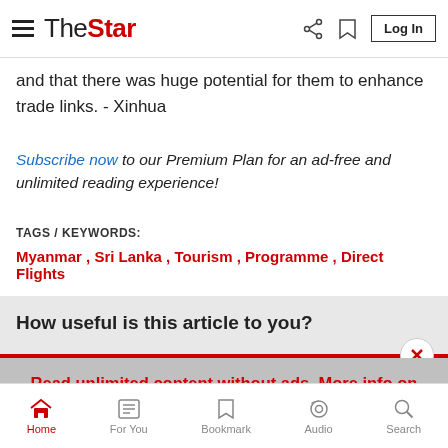The Star — navigation header with logo, share, bookmark, and Log In button
and that there was huge potential for them to enhance trade links. - Xinhua
Subscribe now to our Premium Plan for an ad-free and unlimited reading experience!
TAGS / KEYWORDS:
Myanmar , Sri Lanka , Tourism , Programme , Direct Flights
How useful is this article to you?
Read unlimited content without ads. More info on our Premium Plan. >
Home   For You   Bookmark   Audio   Search